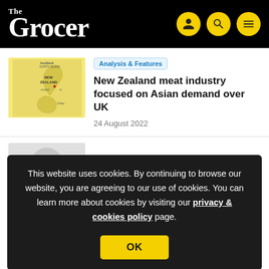The Grocer
Analysis & Features
New Zealand meat industry focused on Asian demand over UK
24 August 2022
This website uses cookies. By continuing to browse our website, you are agreeing to our use of cookies. You can learn more about cookies by visiting our privacy & cookies policy page.
OK
farms as FTA deadline looms
22 August 2022